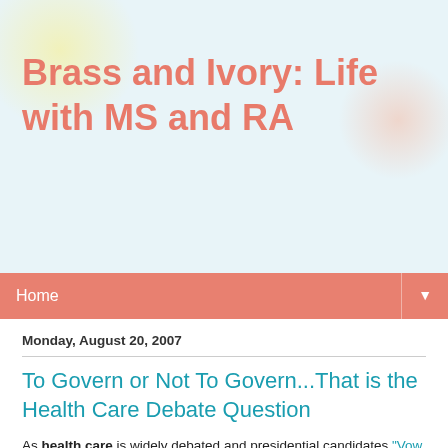Brass and Ivory: Life with MS and RA
Home
Monday, August 20, 2007
To Govern or Not To Govern...That is the Health Care Debate Question
As health care is widely debated and presidential candidates "Vow to Overhaul U.S. Health Care" (The New York Times, July 6, 2007), the debate is resonating loudly with American voters. It's good the candidates acknowledge the need to improve affordability and access to health care, or rather at least pander to our discontent. Unfortunately, President Bush has failed to demonstrate an understanding